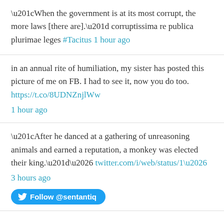“When the government is at its most corrupt, the more laws [there are].” corruptissima re publica plurimae leges #Tacitus 1 hour ago
in an annual rite of humiliation, my sister has posted this picture of me on FB. I had to see it, now you do too. https://t.co/8UDNZnjlWw 1 hour ago
“After he danced at a gathering of unreasoning animals and earned a reputation, a monkey was elected their king.”… twitter.com/i/web/status/1… 3 hours ago